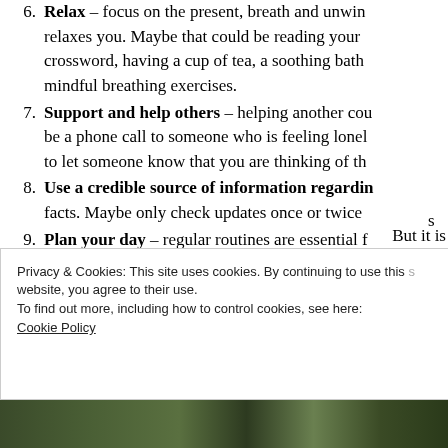6. Relax – focus on the present, breath and unwind with something that relaxes you. Maybe that could be reading your crossword, having a cup of tea, a soothing bath mindful breathing exercises.
7. Support and help others – helping another cou be a phone call to someone who is feeling lonel to let someone know that you are thinking of th
8. Use a credible source of information regardin facts. Maybe only check updates once or twice
9. Plan your day – regular routines are essential f
10. Maintain regular sleeping patterns – wind do hour before bedtime.
Privacy & Cookies: This site uses cookies. By continuing to use this website, you agree to their use. To find out more, including how to control cookies, see here: Cookie Policy
[Figure (photo): Photo strip at bottom of page showing people outdoors]